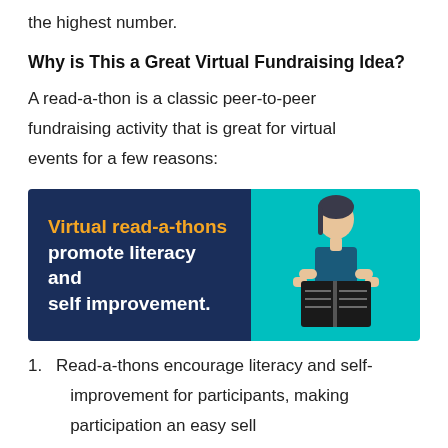the highest number.
Why is This a Great Virtual Fundraising Idea?
A read-a-thon is a classic peer-to-peer fundraising activity that is great for virtual events for a few reasons:
[Figure (infographic): Infographic with dark navy left panel reading 'Virtual read-a-thons promote literacy and self improvement.' and a teal right panel showing an illustrated woman reading a book.]
Read-a-thons encourage literacy and self-improvement for participants, making participation an easy sell